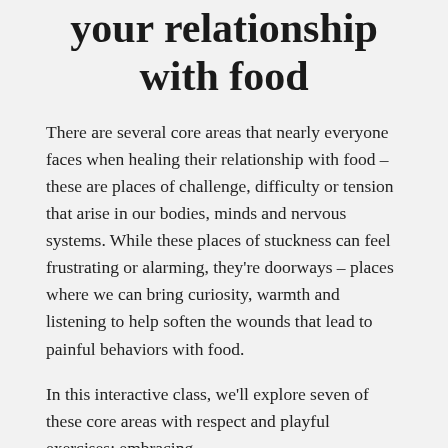your relationship with food
There are several core areas that nearly everyone faces when healing their relationship with food – these are places of challenge, difficulty or tension that arise in our bodies, minds and nervous systems. While these places of stuckness can feel frustrating or alarming, they're doorways – places where we can bring curiosity, warmth and listening to help soften the wounds that lead to painful behaviors with food.
In this interactive class, we'll explore seven of these core areas with respect and playful exercises; embracing...